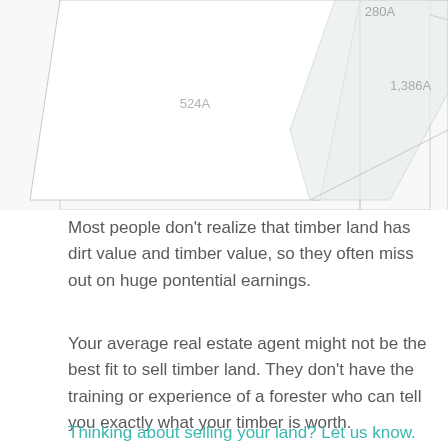[Figure (other): Partial view of a land parcel map/diagram showing three parcels labeled 280A, 524A, and 1,386A with polygonal outlines on a light background]
Most people don't realize that timber land has dirt value and timber value, so they often miss out on huge pontential earnings.
Your average real estate agent might not be the best fit to sell timber land. They don't have the training or experience of a forester who can tell you exactly what your timber is worth.
Thinking about selling your land? Let us know.